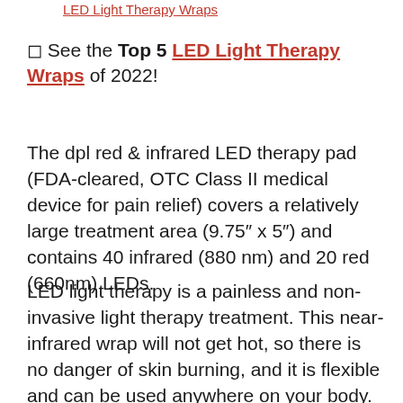LED Light Therapy Wraps
◻ See the Top 5 LED Light Therapy Wraps of 2022!
The dpl red & infrared LED therapy pad (FDA-cleared, OTC Class II medical device for pain relief) covers a relatively large treatment area (9.75″ x 5″) and contains 40 infrared (880 nm) and 20 red (660nm) LEDs.
LED light therapy is a painless and non-invasive light therapy treatment. This near-infrared wrap will not get hot, so there is no danger of skin burning, and it is flexible and can be used anywhere on your body.